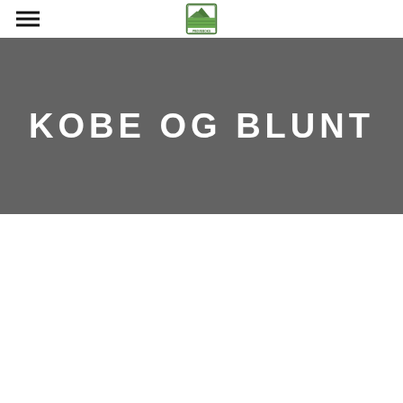PRØVEBOKS (logo)
KOBE OG BLUNT